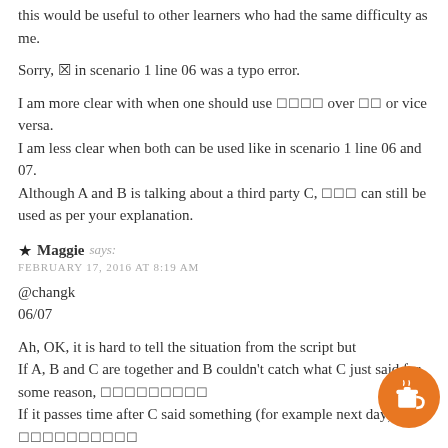this would be useful to other learners who had the same difficulty as me.
Sorry, ▯ in scenario 1 line 06 was a typo error.
I am more clear with when one should use ▯▯▯▯ over ▯▯ or vice versa. I am less clear when both can be used like in scenario 1 line 06 and 07. Although A and B is talking about a third party C, ▯▯▯ can still be used as per your explanation.
★ Maggie says: FEBRUARY 17, 2016 AT 8:19 AM
@changk
06/07
Ah, OK, it is hard to tell the situation from the script but
If A, B and C are together and B couldn't catch what C just said for some reason, ▯▯▯▯▯▯▯▯▯
If it passes time after C said something (for example next day), ▯▯▯▯▯▯▯▯▯▯
changk says: FEBRUARY 28, 2016 AT 9:42 PM
Maggie, sensei I was reading this blog and came across this sentence...